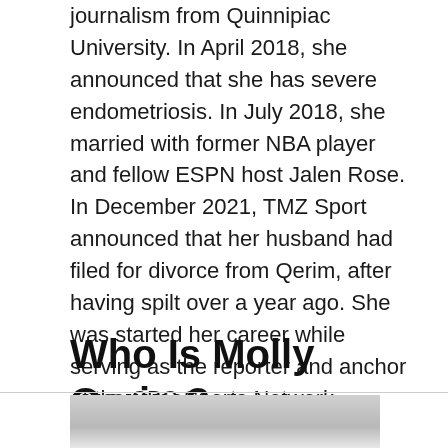journalism from Quinnipiac University. In April 2018, she announced that she has severe endometriosis. In July 2018, she married with former NBA player and fellow ESPN host Jalen Rose. In December 2021, TMZ Sport announced that her husband had filed for divorce from Qerim, after having spilt over a year ago. She was started her career while serving as the reporter and anchor of the CBC Sports Network.
Who Is Molly Qerim?
[Figure (photo): Partial photograph of a person, cropped at the bottom of the page, showing the upper portion of a head/face against a light background.]